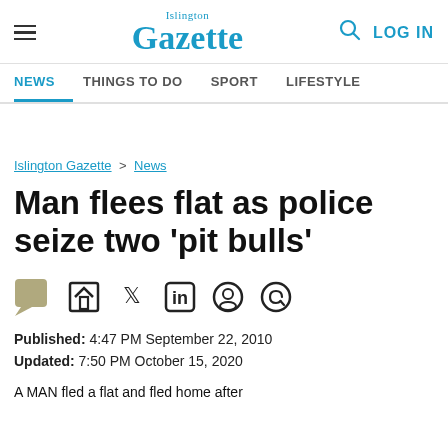Islington Gazette — NEWS | THINGS TO DO | SPORT | LIFESTYLE | LOG IN
Islington Gazette > News
Man flees flat as police seize two 'pit bulls'
Published: 4:47 PM September 22, 2010
Updated: 7:50 PM October 15, 2020
A MAN fled a flat and fled home after